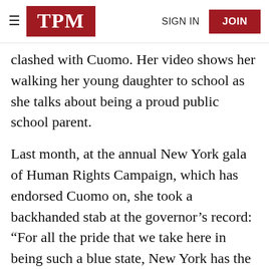TPM | SIGN IN | JOIN
clashed with Cuomo. Her video shows her walking her young daughter to school as she talks about being a proud public school parent.
Last month, at the annual New York gala of Human Rights Campaign, which has endorsed Cuomo on, she took a backhanded stab at the governor’s record: “For all the pride that we take here in being such a blue state, New York has the single worst income inequality of any state in the country.”
More recently, she has been delving into issues of keen interest to New York City, the main blue stronghold in a state where suburban and rural